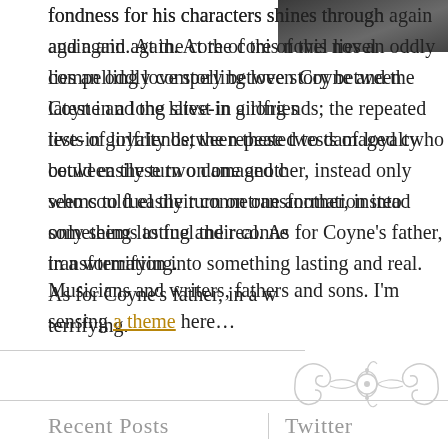[Figure (photo): Partial dark photograph visible in the upper right corner]
fondness for his characters shines through again and again. At the core of this novel lies an oddly compelling love story between Coyne and the latest in a long s[eries of] live-in girlfriends; the repeated tests of loyalty between these two damaged [characters] who could easily turn on one another, instead only seems to fuel their conne[ction and] transformation into something lasting and real. As for Coyne's father, in a w[ord,] terrifying.
Musicians and writers, fathers and sons. I'm sensing a theme here…
[Figure (illustration): Decorative ornamental flourish divider in light gray]
Recent Posts    Twitter